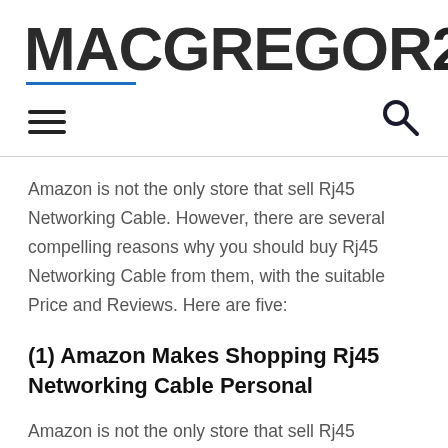MACGREGOR26
Amazon is not the only store that sell Rj45 Networking Cable. However, there are several compelling reasons why you should buy Rj45 Networking Cable from them, with the suitable Price and Reviews. Here are five:
(1) Amazon Makes Shopping Rj45 Networking Cable Personal
Amazon is not the only store...